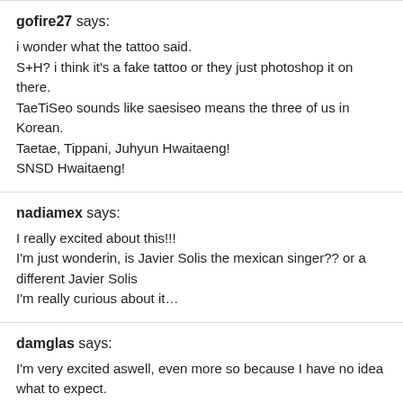gofire27 says:
i wonder what the tattoo said.
S+H? i think it's a fake tattoo or they just photoshop it on there.
TaeTiSeo sounds like saesiseo means the three of us in Korean.
Taetae, Tippani, Juhyun Hwaitaeng!
SNSD Hwaitaeng!
nadiamex says:
I really excited about this!!!
I'm just wonderin, is Javier Solis the mexican singer?? or a different Javier Solis
I'm really curious about it…
damglas says:
I'm very excited aswell, even more so because I have no idea what to expect.
I like change, even if it might take some getting used to.
OGrl146 says:
I'm super excited for this release. But I will be skeptical on it since they are going